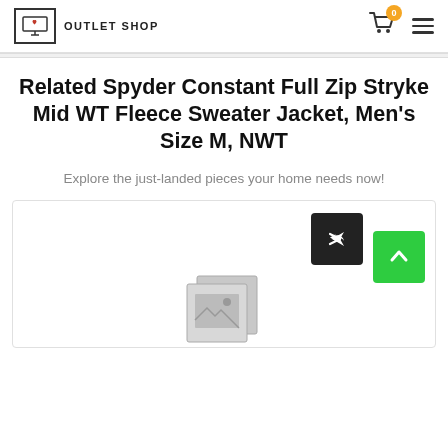OUTLET SHOP
Related Spyder Constant Full Zip Stryke Mid WT Fleece Sweater Jacket, Men's Size M, NWT
Explore the just-landed pieces your home needs now!
[Figure (screenshot): Product image placeholder with share button and back-to-top button]